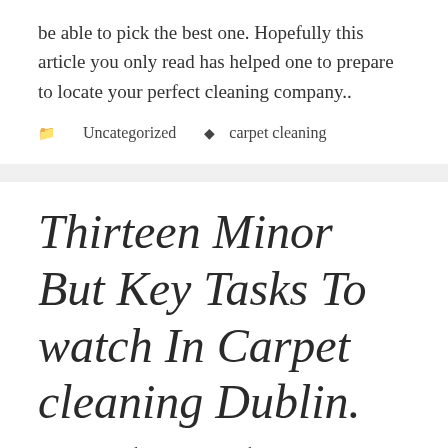be able to pick the best one. Hopefully this article you only read has helped one to prepare to locate your perfect cleaning company..
Uncategorized   carpet cleaning
Thirteen Minor But Key Tasks To watch In Carpet cleaning Dublin.
Jesse Jackson   October 14, 2017